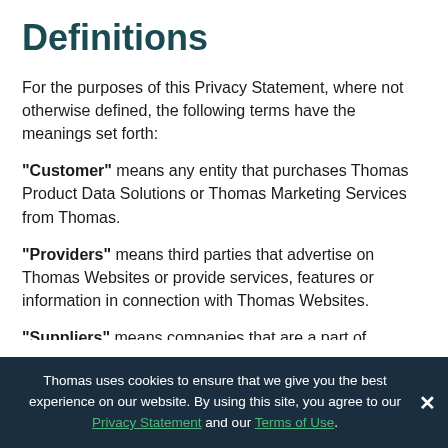Definitions
For the purposes of this Privacy Statement, where not otherwise defined, the following terms have the meanings set forth:
“Customer” means any entity that purchases Thomas Product Data Solutions or Thomas Marketing Services from Thomas.
“Providers” means third parties that advertise on Thomas Websites or provide services, features or information in connection with Thomas Websites.
“Suppliers” means companies that are a part of Thomas’ database of companies.
Thomas uses cookies to ensure that we give you the best experience on our website. By using this site, you agree to our Privacy Statement and our Terms of Use.